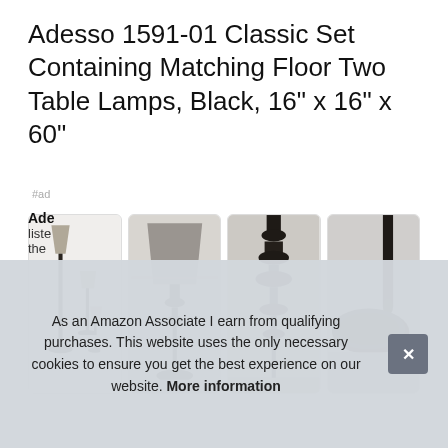Adesso 1591-01 Classic Set Containing Matching Floor Two Table Lamps, Black, 16" x 16" x 60"
#ad
[Figure (photo): Four product photos of black floor and table lamps: (1) full set view showing floor lamp and two table lamps, (2) close-up of table lamp with gray shade, (3) close-up of black turned lamp base stem, (4) close-up of black lamp base foot]
Ade
liste
the
As an Amazon Associate I earn from qualifying purchases. This website uses the only necessary cookies to ensure you get the best experience on our website. More information